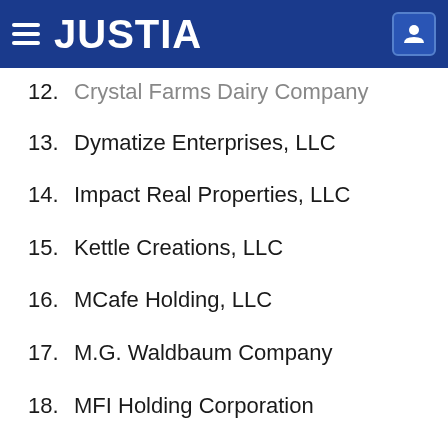JUSTIA
12. Crystal Farms Dairy Company
13. Dymatize Enterprises, LLC
14. Impact Real Properties, LLC
15. Kettle Creations, LLC
16. MCafe Holding, LLC
17. M.G. Waldbaum Company
18. MFI Holding Corporation
19. MFI International, Inc.